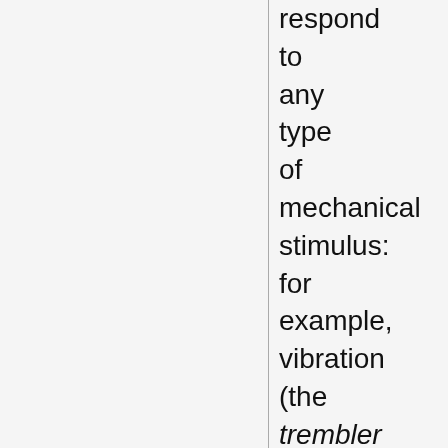respond to any type of mechanical stimulus: for example, vibration (the trembler switch), tilt, air pressure